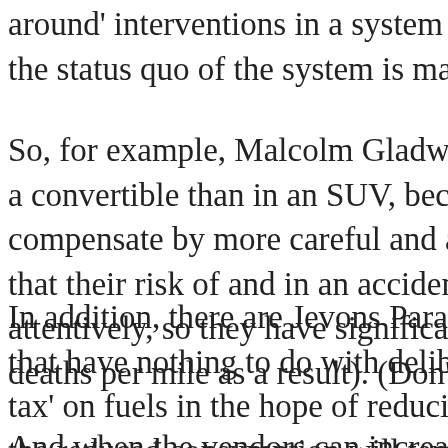around' interventions in a system that were designed to bring ab the status quo of the system is maintained.
So, for example, Malcolm Gladwell's research has discovered that a convertible than in an SUV, because drivers of convertibles kn compensate by more careful and attentive driving, while SUV d that their risk of and in an accident Is much lower, tend to drive attentively, so they have significantly more accidents per mile (a deaths per mile as a result). (Don't try to sell this logic to your i
In addition, there are Jevons Paradoxes inherent in complex sys that have nothing to do with deliberate human behaviour at all. tax' on fuels in the hope of reducing consumption and encouraga the reduced consumption will temporarily lower prices (as a res lower prices will enable drivers to buy more gasoline for the sa tanks more often — until that increased demand enables the ga completing the cycle.
And when the vendors can increase their prices, they can also e